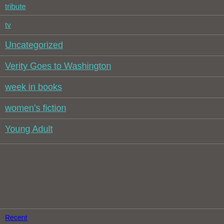tribute
tv
Uncategorized
Verity Goes to Washington
week in books
women's fiction
Young Adult
Recent